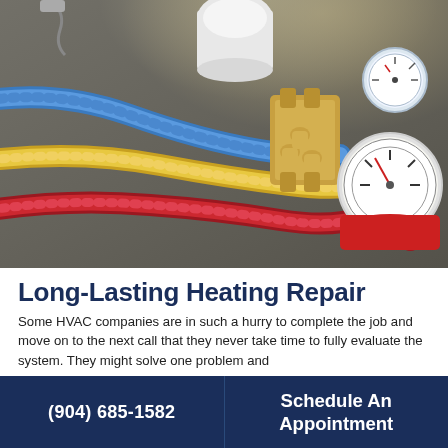[Figure (photo): Close-up photo of HVAC refrigerant manifold gauge set with colorful hoses (blue, yellow, red) and brass fittings, along with pressure gauges, laid on a surface with warm backlit glow.]
Long-Lasting Heating Repair
Some HVAC companies are in such a hurry to complete the job and move on to the next call that they never take time to fully evaluate the system. They might solve one problem and
(904) 685-1582
Schedule An Appointment